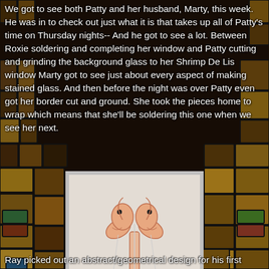We got to see both Patty and her husband, Marty, this week. He was in to check out just what it is that takes up all of Patty's time on Thursday nights-- And he got to see a lot. Between Roxie soldering and completing her window and Patty cutting and grinding the background glass to her Shrimp De Lis window Marty got to see just about every aspect of making stained glass. And then before the night was over Patty even got her border cut and ground. She took the pieces home to wrap which means that she'll be soldering this one when we see her next.
[Figure (photo): A stained glass panel showing a shrimp designed as a fleur-de-lis (Shrimp De Lis), with pink/salmon colored shrimp pieces arranged in a fleur-de-lis pattern on a white/cream textured background.]
Ray picked out an abstract/geometrical design for his first